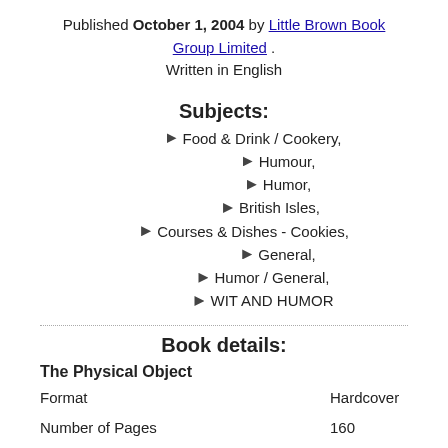Published October 1, 2004 by Little Brown Book Group Limited . Written in English
Subjects:
Food & Drink / Cookery,
Humour,
Humor,
British Isles,
Courses & Dishes - Cookies,
General,
Humor / General,
WIT AND HUMOR
Book details:
The Physical Object
Format    Hardcover
Number of Pages    160
ID Numbers
Open Library    OL9346561M